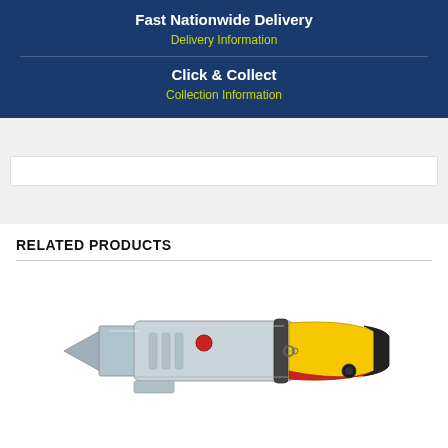Fast Nationwide Delivery
Delivery Information
Click & Collect
Collection Information
RELATED PRODUCTS
[Figure (photo): A utility knife / box cutter with a retractable blade, grey metal body, yellow and red accents on the handle, and a red safety button on the body.]